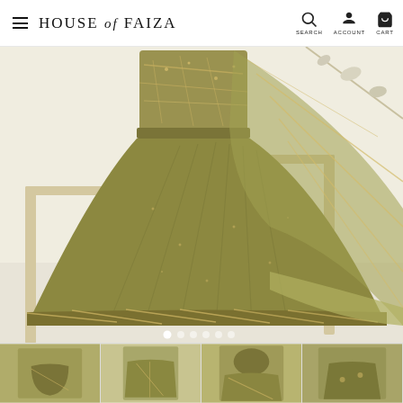HOUSE of FAIZA — navigation with Search, Account, Cart icons
[Figure (photo): Olive green Pakistani formal dress (sharara set) with gold embroidery on bodice, wide-leg sharara pants with border embellishment, and sheer olive dupatta with diagonal gold stripe pattern. White background with wooden frame props and floral branches. Carousel with 6 navigation dots at bottom.]
[Figure (photo): Four thumbnail images of the same olive green sharara outfit from different angles — front view, model wearing full set, detail shot, and alternate angle.]